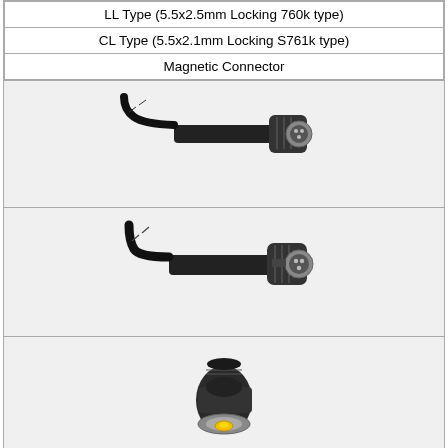| LL Type (5.5x2.5mm Locking 760k type) |
| CL Type (5.5x2.1mm Locking S761k type) |
| Magnetic Connector |
[Figure (photo): Black cable with a locking DIN-style circular connector end, viewed at an angle showing the metal pins inside]
[Figure (photo): Black cable with a locking DIN-style circular connector end, similar to above, slightly different angle showing metal pins]
[Figure (photo): Black DC power connector plug with yellow-tipped center pin (magnetic connector type)]